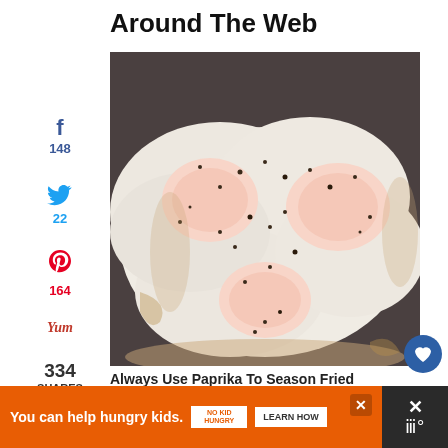Around The Web
[Figure (photo): Fried eggs with black pepper seasoning on a dark pan, three yolks visible with crispy white edges]
f 148
22
164
334 SHARES
Always Use Paprika To Season Fried Eggs. Here's Why
357
[Figure (photo): Partial view of food ingredients strip]
You can help hungry kids. NO KID HUNGRY LEARN HOW